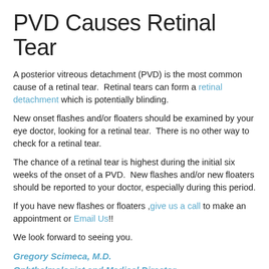PVD Causes Retinal Tear
A posterior vitreous detachment (PVD) is the most common cause of a retinal tear.  Retinal tears can form a retinal detachment which is potentially blinding.
New onset flashes and/or floaters should be examined by your eye doctor, looking for a retinal tear.  There is no other way to check for a retinal tear.
The chance of a retinal tear is highest during the initial six weeks of the onset of a PVD.  New flashes and/or new floaters should be reported to your doctor, especially during this period.
If you have new flashes or floaters ,give us a call to make an appointment or Email Us!!
We look forward to seeing you.
Gregory Scimeca, M.D.
Ophthalmologist and Medical Director